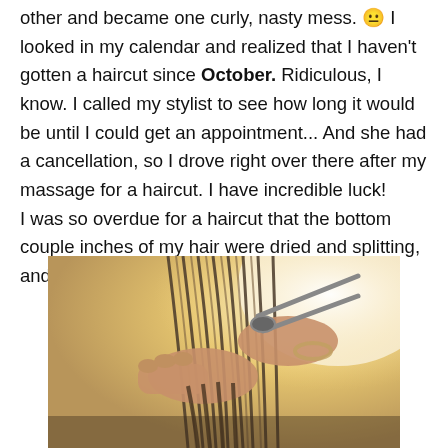other and became one curly, nasty mess. 😐 I looked in my calendar and realized that I haven't gotten a haircut since October. Ridiculous, I know. I called my stylist to see how long it would be until I could get an appointment... And she had a cancellation, so I drove right over there after my massage for a haircut. I have incredible luck!
I was so overdue for a haircut that the bottom couple inches of my hair were dried and splitting, and my bangs almost reached my chin. 😐
[Figure (photo): A close-up photo of hands holding hair and scissors mid-haircut, with warm golden/sunny background light.]